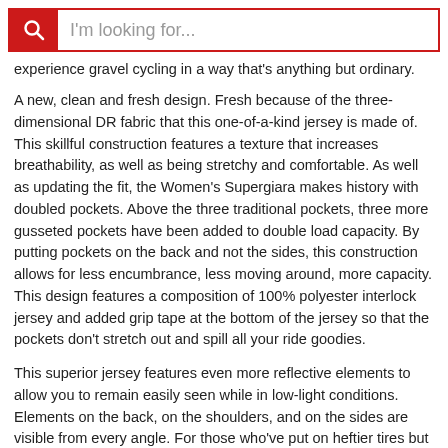I'm looking for...
experience gravel cycling in a way that's anything but ordinary.
A new, clean and fresh design. Fresh because of the three-dimensional DR fabric that this one-of-a-kind jersey is made of. This skillful construction features a texture that increases breathability, as well as being stretchy and comfortable. As well as updating the fit, the Women's Supergiara makes history with doubled pockets. Above the three traditional pockets, three more gusseted pockets have been added to double load capacity. By putting pockets on the back and not the sides, this construction allows for less encumbrance, less moving around, more capacity. This design features a composition of 100% polyester interlock jersey and added grip tape at the bottom of the jersey so that the pockets don't stretch out and spill all your ride goodies.
This superior jersey features even more reflective elements to allow you to remain easily seen while in low-light conditions. Elements on the back, on the shoulders, and on the sides are visible from every angle. For those who've put on heftier tires but haven't abandoned their competitive spirit, make sure you treat yourself to the Sportful Women's Supergiara Jersey.